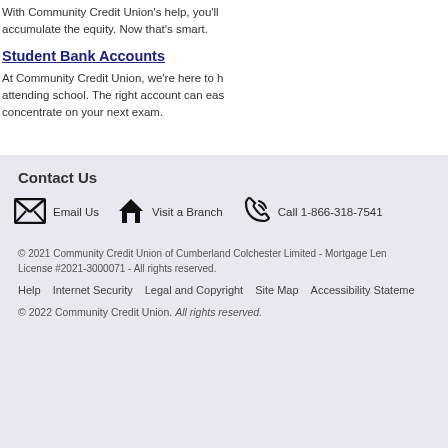With Community Credit Union's help, you'll accumulate the equity. Now that's smart.
Student Bank Accounts
At Community Credit Union, we're here to help while attending school. The right account can easily concentrate on your next exam.
Contact Us
Email Us   Visit a Branch   Call 1-866-318-7541
© 2021 Community Credit Union of Cumberland Colchester Limited - Mortgage Lender License #2021-3000071 - All rights reserved.
Help   Internet Security   Legal and Copyright   Site Map   Accessibility Statement
© 2022 Community Credit Union. All rights reserved.